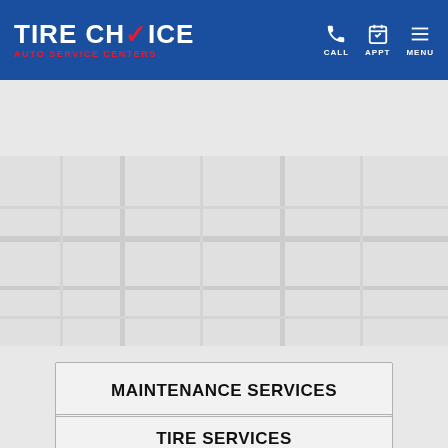Tire Choice Auto Service Centers - Header Navigation with CALL, APPT, MENU
Pleasanton, CA ★★★★☆
[Figure (screenshot): Map area showing Pleasanton, CA location]
MAINTENANCE SERVICES
REPAIR SERVICES
TIRE SERVICES